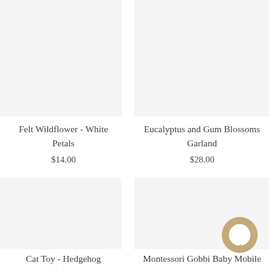[Figure (photo): Product image placeholder for Felt Wildflower - White Petals]
Felt Wildflower - White Petals
$14.00
[Figure (photo): Product image placeholder for Eucalyptus and Gum Blossoms Garland]
Eucalyptus and Gum Blossoms Garland
$28.00
[Figure (photo): Product image placeholder for Cat Toy - Hedgehog]
Cat Toy - Hedgehog
$9.00
[Figure (photo): Product image placeholder for Montessori Gobbi Baby Mobile - Blue]
Montessori Gobbi Baby Mobile - Blue
[Figure (illustration): Chat bubble / messaging icon in tan/gold color]